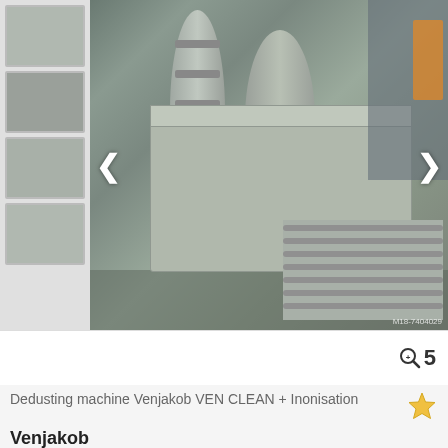[Figure (photo): Photo of a Venjakob dedusting machine with large cylindrical ducts and roller conveyor in an industrial setting. Navigation arrows on left and right sides. Image carousel with 5 photos indicated.]
5
Dedusting machine Venjakob VEN CLEAN + Inonisation
Venjakob
[Figure (logo): Certified Dealer badge - circular gear-shaped badge with teal/cyan color, checkmark in center, text CERTIFIED on top and DEALER on bottom]
Save search query
€ Price info